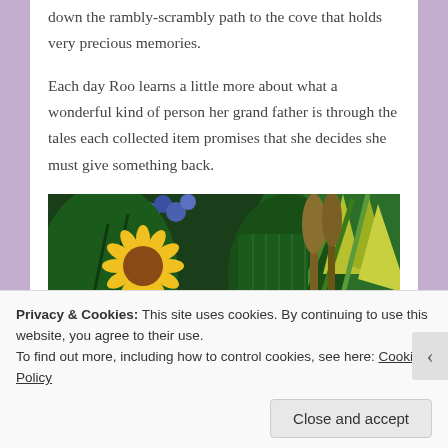down the rambly-scrambly path to the cove that holds very precious memories.
Each day Roo learns a little more about what a wonderful kind of person her grand father is through the tales each collected item promises that she decides she must give something back.
[Figure (photo): A painted or illustrated image of tropical/garden plants including a sunflower with yellow petals, dark center, green tropical leaves, blue flowers, and lush foliage in dark greens and yellows.]
Privacy & Cookies: This site uses cookies. By continuing to use this website, you agree to their use.
To find out more, including how to control cookies, see here: Cookie Policy
Close and accept